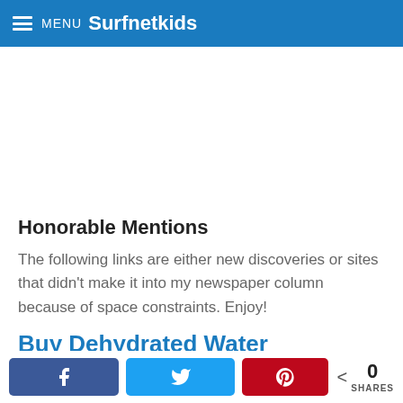MENU Surfnetkids
Honorable Mentions
The following links are either new discoveries or sites that didn't make it into my newspaper column because of space constraints. Enjoy!
Buy Dehydrated Water